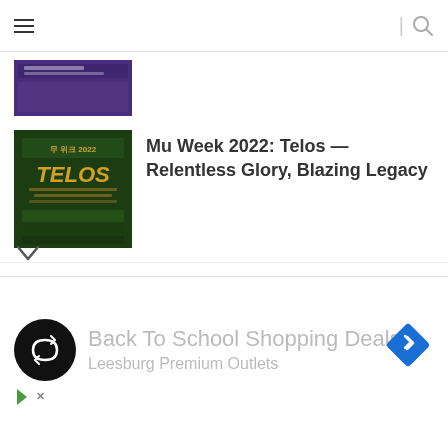Navigation bar with hamburger menu and search icon
[Figure (screenshot): Partially visible thumbnail of a purple/dark colored article image at top]
Mu Week 2022: Telos — Relentless Glory, Blazing Legacy
Fasten your seatbelts and prepare for take off!
Ben&Ben unveils new international single “The Ones We Once Loved”
[Figure (infographic): Advertisement banner: Back To School Shopping Deals - Leesburg Premium Outlets, with circular black logo with infinity-like symbol and blue diamond arrow icon]